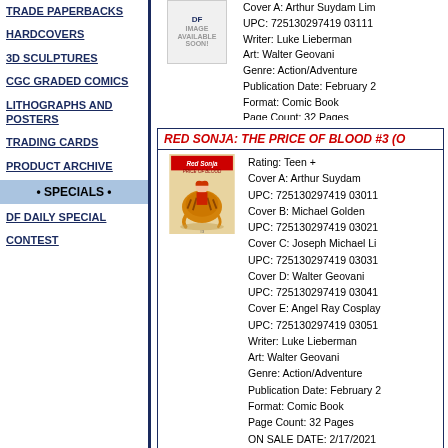TRADE PAPERBACKS
HARDCOVERS
3D SCULPTURES
CGC GRADED COMICS
LITHOGRAPHS AND POSTERS
TRADING CARDS
PRODUCT ARCHIVE
• SPECIALS •
DF DAILY SPECIAL
CONTEST
Cover A: Arthur Suydam Lim
UPC: 725130297419 03111
Writer: Luke Lieberman
Art: Walter Geovani
Genre: Action/Adventure
Publication Date: February 2
Format: Comic Book
Page Count: 32 Pages
ON SALE DATE: 2/17/2021
Get Arthur Suydam's RED S
SKU: C725130297419 03111
RED SONJA: THE PRICE OF BLOOD #3 (O
[Figure (illustration): Red Sonja comic book cover showing Red Sonja riding a tiger]
Rating: Teen +
Cover A: Arthur Suydam
UPC: 725130297419 03011
Cover B: Michael Golden
UPC: 725130297419 03021
Cover C: Joseph Michael Li
UPC: 725130297419 03031
Cover D: Walter Geovani
UPC: 725130297419 03041
Cover E: Angel Ray Cosplay
UPC: 725130297419 03051
Writer: Luke Lieberman
Art: Walter Geovani
Genre: Action/Adventure
Publication Date: February 2
Format: Comic Book
Page Count: 32 Pages
ON SALE DATE: 2/17/2021
The fiery conclusion as Sonj
SKU: C725130297419 03011
RED SONJA: THE PRICE OF BLOOD #2 - J